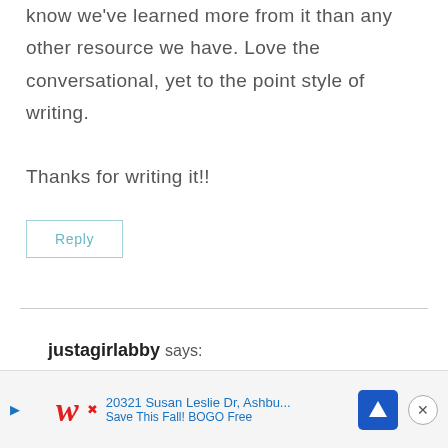know we've learned more from it than any other resource we have. Love the conversational, yet to the point style of writing.

Thanks for writing it!!
Reply
justagirlabby says:
You are too sweet! Thank you for your kind wo... ...l to
[Figure (other): Walgreens advertisement banner: '20321 Susan Leslie Dr, Ashbu... Save This Fall! BOGO Free' with Walgreens logo and navigation icon]